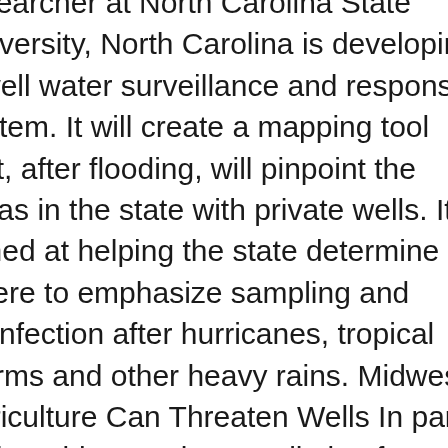researcher at North Carolina State University, North Carolina is developing a well water surveillance and response system. It will create a mapping tool that, after flooding, will pinpoint the areas in the state with private wells. It's aimed at helping the state determine where to emphasize sampling and disinfection after hurricanes, tropical storms and other heavy rains. Midwest Agriculture Can Threaten Wells In parts of the Midwest, nitrate pollution from fertilizer is especially troublesome after heavy rains, said Scott Laeser, the water program director for